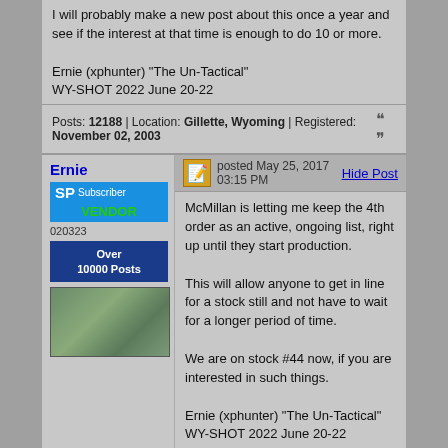I will probably make a new post about this once a year and see if the interest at that time is enough to do 10 or more.

Ernie (xphunter) "The Un-Tactical"
WY-SHOT 2022 June 20-22
Posts: 12188 | Location: Gillette, Wyoming | Registered: November 02, 2003
Ernie
posted May 25, 2017 03:15 PM
Hide Post
McMillan is letting me keep the 4th order as an active, ongoing list, right up until they start production.

This will allow anyone to get in line for a stock still and not have to wait for a longer period of time.

We are on stock #44 now, if you are interested in such things.

Ernie (xphunter) "The Un-Tactical"
WY-SHOT 2022 June 20-22
Posts: 12188 | Location: Gillette, Wyoming | Registered: November 02, 2003
Shaggy357
posted May 26, 2017 05:42 AM
Hide Post